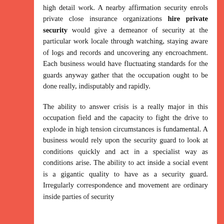high detail work. A nearby affirmation security enrols private close insurance organizations hire private security would give a demeanor of security at the particular work locale through watching, staying aware of logs and records and uncovering any encroachment. Each business would have fluctuating standards for the guards anyway gather that the occupation ought to be done really, indisputably and rapidly.
The ability to answer crisis is a really major in this occupation field and the capacity to fight the drive to explode in high tension circumstances is fundamental. A business would rely upon the security guard to look at conditions quickly and act in a specialist way as conditions arise. The ability to act inside a social event is a gigantic quality to have as a security guard. Irregularly correspondence and movement are ordinary inside parties of security